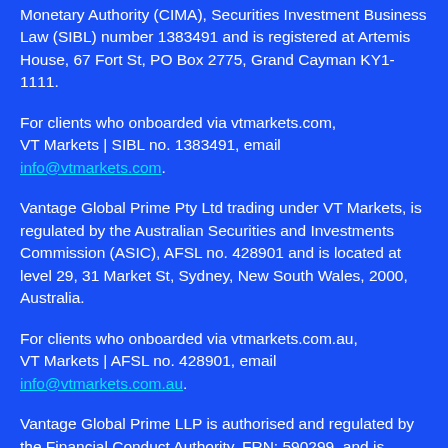Monetary Authority (CIMA), Securities Investment Business Law (SIBL) number 1383491 and is registered at Artemis House, 67 Fort St, PO Box 2775, Grand Cayman KY1-1111.
For clients who onboarded via vtmarkets.com, VT Markets | SIBL no. 1383491, email info@vtmarkets.com.
Vantage Global Prime Pty Ltd trading under VT Markets, is regulated by the Australian Securities and Investments Commission (ASIC), AFSL no. 428901 and is located at level 29, 31 Market St, Sydney, New South Wales, 2000, Australia.
For clients who onboarded via vtmarkets.com.au, VT Markets | AFSL no. 428901, email info@vtmarkets.com.au.
Vantage Global Prime LLP is authorised and regulated by the Financial Conduct Authority, FRN: 590299, and is